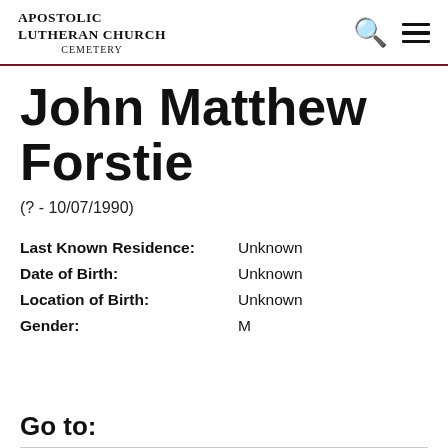Apostolic Lutheran Church Cemetery
John Matthew Forstie
(? - 10/07/1990)
| Field | Value |
| --- | --- |
| Last Known Residence: | Unknown |
| Date of Birth: | Unknown |
| Location of Birth: | Unknown |
| Gender: | M |
Go to: